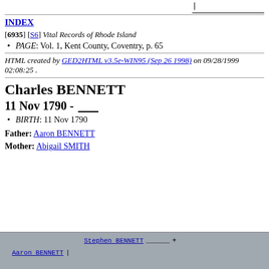INDEX
[6935] [S6] Vital Records of Rhode Island
PAGE: Vol. 1, Kent County, Coventry, p. 65
HTML created by GED2HTML v3.5e-WIN95 (Sep 26 1998) on 09/28/1999 02:08:25 .
Charles BENNETT
11 Nov 1790 - ____
BIRTH: 11 Nov 1790
Father: Aaron BENNETT
Mother: Abigail SMITH
[Figure (other): Genealogy family tree chart showing Stephen BENNETT + above Aaron BENNETT |]